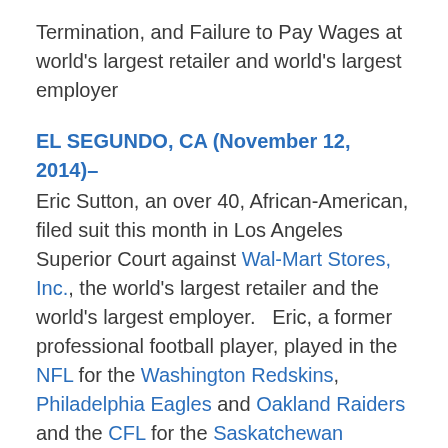Termination, and Failure to Pay Wages at world's largest retailer and world's largest employer
EL SEGUNDO, CA (November 12, 2014)– Eric Sutton, an over 40, African-American, filed suit this month in Los Angeles Superior Court against Wal-Mart Stores, Inc., the world's largest retailer and the world's largest employer.   Eric, a former professional football player, played in the NFL for the Washington Redskins, Philadelphia Eagles and Oakland Raiders and the CFL for the Saskatchewan Roughriders and the Calgary Stampeders.